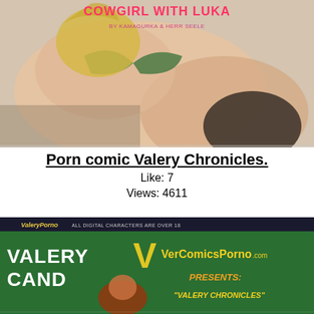[Figure (illustration): Animated/illustrated adult comic image showing a figure in a green bikini top with text 'COWGIRL WITH LUKA' in pink/red letters at the top]
Porn comic Valery Chronicles.
Like: 7
Views: 4611
[Figure (illustration): Comic book cover image for Valery Chronicles showing animated characters on green background with text 'VALERY', 'VerComicsPorno.com', 'PRESENTS:', 'VALERY CHRONICLES', 'CAND...' and banner 'ALL DIGITAL CHARACTERS ARE OVER 18']